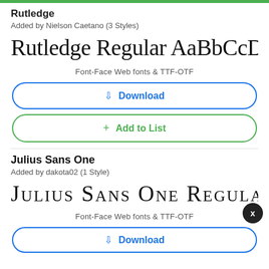Rutledge
Added by Nielson Caetano (3 Styles)
Rutledge Regular AaBbCcDd...
Font-Face Web fonts & TTF-OTF
Download
+ Add to List
Julius Sans One
Added by dakota02 (1 Style)
Julius Sans One Regular...
Font-Face Web fonts & TTF-OTF
Download